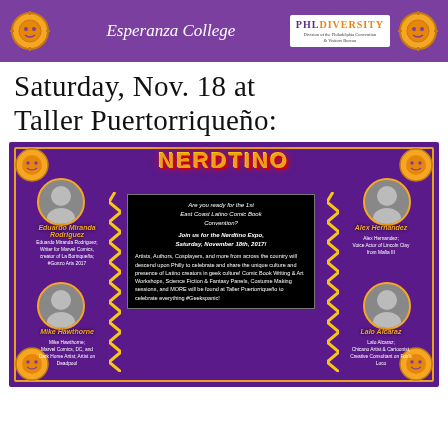[Figure (illustration): Top purple banner with Esperanza College text, sun/Taino decorative icons on left and right, and PHLDiversity logo on the right side]
Saturday, Nov. 18 at Taller Puertorriqueño:
[Figure (illustration): Nerdtino Expo promotional poster with purple background, colorful graffiti-style title 'Nerdtino', decorative Taino sun symbols in corners, four featured guests (Eduardo Miranda Rodriguez - Writer for Marvel Comics, creator of La Borinqueña; Alex Hernandez - Voice Actor of Lincoln Clay from Mafia III; Mike Hawthorne - Marvel Comics, DC, and Dark Horse Artist, Artist on Deadpool; Lalo Alcaraz - Chicano Artist & Cartoonist, Creative Consultant on Fox's Loco), and central black text box describing the 1st East Coast Latino Comic Book Convention event on Saturday November 18th 2017 at Taller Puertorriqueño celebrating Latino creators in geek culture with Comic Book Writing & Art Workshops, Science Fiction & Fantasy Panels, Costume Making sessions, and more #Geekspanic]